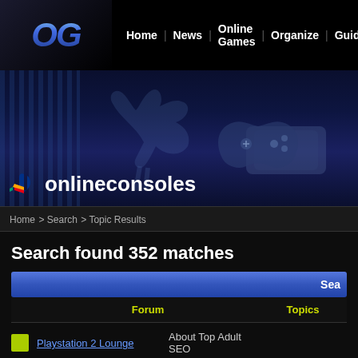OC | Home | News | Online Games | Organize | Guides | Tournaments
[Figure (screenshot): Online consoles banner with PlayStation logo, game controller, and dark blue gaming background with bull silhouette]
Home > Search > Topic Results
Search found 352 matches
| Forum | Topics |
| --- | --- |
| Playstation 2 Lounge | About Top Adult SEO |  |
| Tribes Aerial Assault | Newgoodpost |  |
| Playstation 2 Lounge | I anticipate more posts from you. |  |